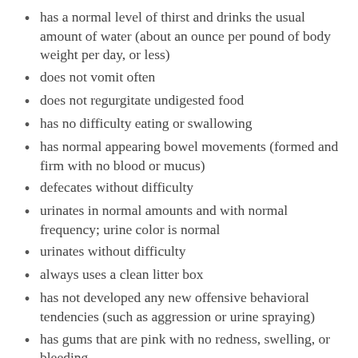has a normal level of thirst and drinks the usual amount of water (about an ounce per pound of body weight per day, or less)
does not vomit often
does not regurgitate undigested food
has no difficulty eating or swallowing
has normal appearing bowel movements (formed and firm with no blood or mucus)
defecates without difficulty
urinates in normal amounts and with normal frequency; urine color is normal
urinates without difficulty
always uses a clean litter box
has not developed any new offensive behavioral tendencies (such as aggression or urine spraying)
has gums that are pink with no redness, swelling, or bleeding